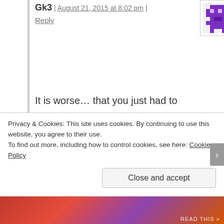Gk3 | August 21, 2015 at 8:02 pm | Reply
[Figure (illustration): Pixel art avatar in purple tones showing a character/icon]
It is worse… that you just had to follow the questline and earn tickets however you want, here the prizes are from multiple buildings and currency is so hard to earn…
Privacy & Cookies: This site uses cookies. By continuing to use this website, you agree to their use. To find out more, including how to control cookies, see here: Cookie Policy
Close and accept